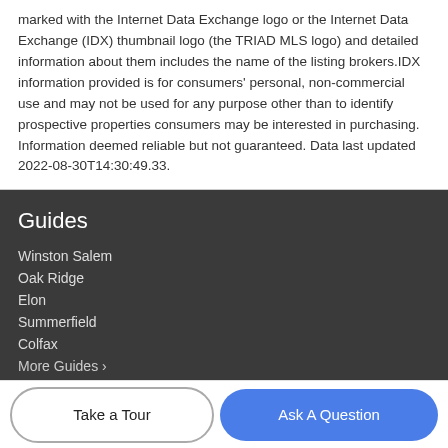marked with the Internet Data Exchange logo or the Internet Data Exchange (IDX) thumbnail logo (the TRIAD MLS logo) and detailed information about them includes the name of the listing brokers.IDX information provided is for consumers' personal, non-commercial use and may not be used for any purpose other than to identify prospective properties consumers may be interested in purchasing. Information deemed reliable but not guaranteed. Data last updated 2022-08-30T14:30:49.33.
Guides
Winston Salem
Oak Ridge
Elon
Summerfield
Colfax
More Guides ›
Take a Tour
Ask A Question